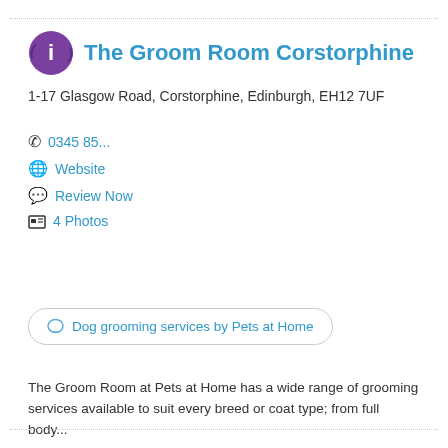The Groom Room Corstorphine
1-17 Glasgow Road, Corstorphine, Edinburgh, EH12 7UF
0345 85...
Website
Review Now
4 Photos
Dog grooming services by Pets at Home
The Groom Room at Pets at Home has a wide range of grooming services available to suit every breed or coat type; from full body...